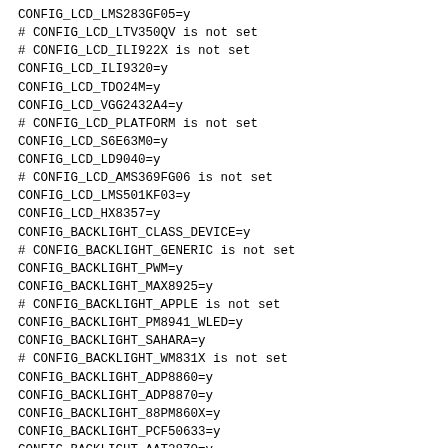CONFIG_LCD_LMS283GF05=y
# CONFIG_LCD_LTV350QV is not set
# CONFIG_LCD_ILI922X is not set
CONFIG_LCD_ILI9320=y
CONFIG_LCD_TDO24M=y
CONFIG_LCD_VGG2432A4=y
# CONFIG_LCD_PLATFORM is not set
CONFIG_LCD_S6E63M0=y
CONFIG_LCD_LD9040=y
# CONFIG_LCD_AMS369FG06 is not set
CONFIG_LCD_LMS501KF03=y
CONFIG_LCD_HX8357=y
CONFIG_BACKLIGHT_CLASS_DEVICE=y
# CONFIG_BACKLIGHT_GENERIC is not set
CONFIG_BACKLIGHT_PWM=y
CONFIG_BACKLIGHT_MAX8925=y
# CONFIG_BACKLIGHT_APPLE is not set
CONFIG_BACKLIGHT_PM8941_WLED=y
CONFIG_BACKLIGHT_SAHARA=y
# CONFIG_BACKLIGHT_WM831X is not set
CONFIG_BACKLIGHT_ADP8860=y
CONFIG_BACKLIGHT_ADP8870=y
CONFIG_BACKLIGHT_88PM860X=y
CONFIG_BACKLIGHT_PCF50633=y
CONFIG_BACKLIGHT_AAT2870=y
CONFIG_BACKLIGHT_LM3630A=y
CONFIG_BACKLIGHT_LM3639=y
CONFIG_BACKLIGHT_LP855X=y
CONFIG_BACKLIGHT_LP8788=y
CONFIG_BACKLIGHT_TPS65217=y